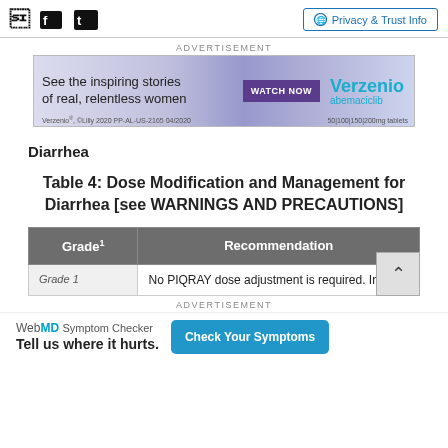Facebook Twitter | Privacy & Trust Info
[Figure (other): Verzenio abemaciclib advertisement banner. Text: See the inspiring stories of real, relentless women. WATCH NOW button. Verzenio abemaciclib logo. Verzenio, ©Lilly 2020 PP-AL-US-2165 04/2020. 50|100|150|200mg tablets.]
Diarrhea
Table 4: Dose Modification and Management for Diarrhea [see WARNINGS AND PRECAUTIONS]
| Grade¹ | Recommendation |
| --- | --- |
| Grade 1 | No PIQRAY dose adjustment is required. Initia... |
[Figure (other): WebMD Symptom Checker advertisement. Text: Tell us where it hurts. Check Your Symptoms button.]